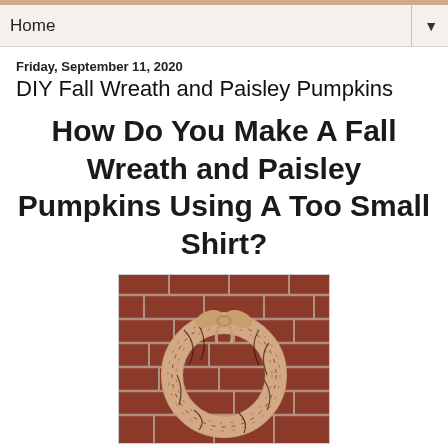Home ▼
Friday, September 11, 2020
DIY Fall Wreath and Paisley Pumpkins
How Do You Make A Fall Wreath and Paisley Pumpkins Using A Too Small Shirt?
[Figure (photo): A paisley-patterned fabric fall wreath hanging on a brick wall. The wreath is covered in a light tan/pink fabric with dark paisley print, wrapped around a circular form, with a tied bow at the top.]